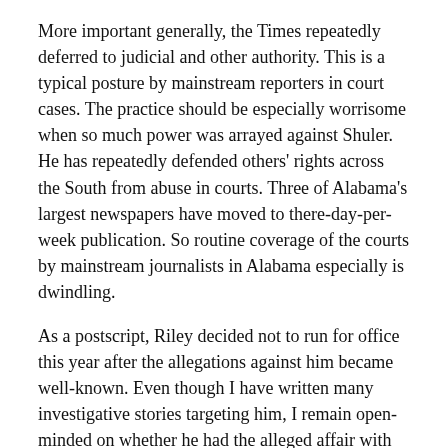More important generally, the Times repeatedly deferred to judicial and other authority. This is a typical posture by mainstream reporters in court cases. The practice should be especially worrisome when so much power was arrayed against Shuler. He has repeatedly defended others' rights across the South from abuse in courts. Three of Alabama's largest newspapers have moved to there-day-per-week publication. So routine coverage of the courts by mainstream journalists in Alabama especially is dwindling.
As a postscript, Riley decided not to run for office this year after the allegations against him became well-known. Even though I have written many investigative stories targeting him, I remain open-minded on whether he had the alleged affair with Duke. I do not doubt that Shuler had sources, but when the stakes are so high there is always the possibility that sources are in error or have complex motives.
But that is just one question in the case. Under our system, judges are supposed to set the ground rules according to precedent and preside over a trial to determine the facts.
Riley...